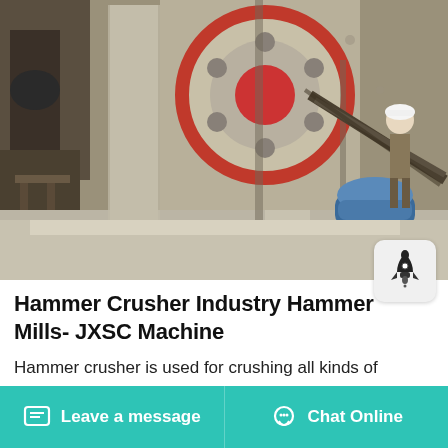[Figure (photo): Industrial hammer crusher machine at a work site, showing a large flywheel with red center and circular holes, concrete pillars, a blue electric motor, and a worker in a white hard hat standing to the right side.]
Hammer Crusher Industry Hammer Mills- JXSC Machine
Hammer crusher is used for crushing all kinds of medium hard and weak abrasive materials. The compressive strength of the material is not more than 100MPa, and the moisture content is less than